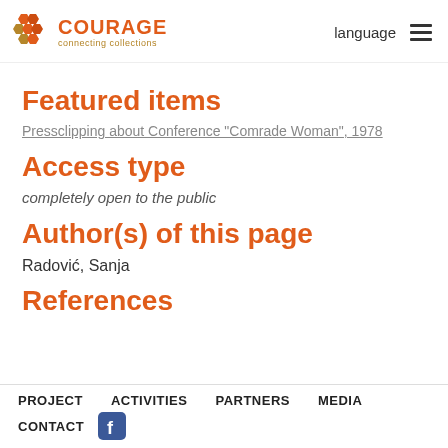COURAGE connecting collections | language
Featured items
Pressclipping about Conference "Comrade Woman", 1978
Access type
completely open to the public
Author(s) of this page
Radović, Sanja
References
PROJECT   ACTIVITIES   PARTNERS   MEDIA   CONTACT